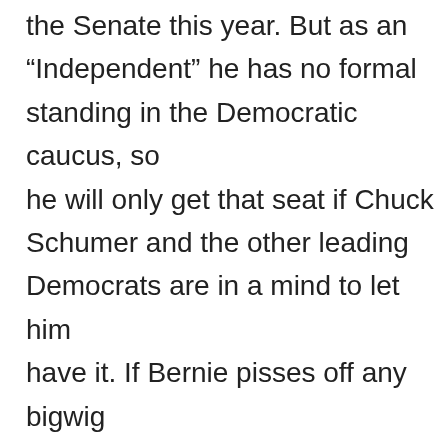the Senate this year. But as an “Independent” he has no formal standing in the Democratic caucus, so he will only get that seat if Chuck Schumer and the other leading Democrats are in a mind to let him have it. If Bernie pisses off any bigwig Dem, especially Obama, then he will be relegated to the back benches. So I respect Bernie's personal reasons for supporting Biden. But his reasons are not mine. Read more here:
https://www.euroyankee.com/trump-